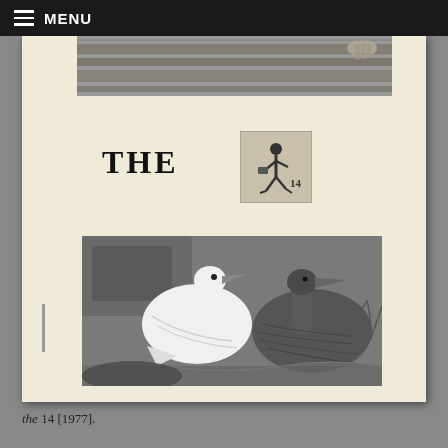MENU
[Figure (photo): Partial black and white photograph showing wooden structure and a hand, cropped at top of document page.]
THE
[Figure (photo): Small black and white image showing figure walking, labeled '14'.]
[Figure (photo): Large black and white photograph of two large seabirds (gannets or similar), shown close up against rocky background.]
the 14 [1977].